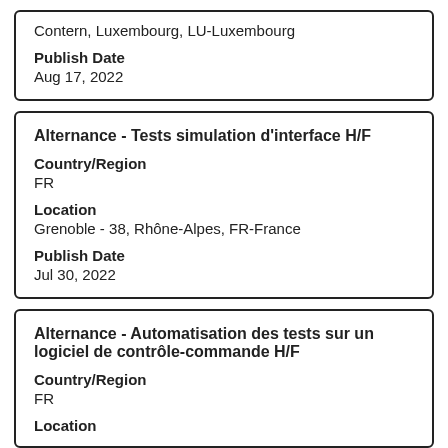Contern, Luxembourg, LU-Luxembourg
Publish Date
Aug 17, 2022
Alternance - Tests simulation d'interface H/F
Country/Region
FR
Location
Grenoble - 38, Rhône-Alpes, FR-France
Publish Date
Jul 30, 2022
Alternance - Automatisation des tests sur un logiciel de contrôle-commande H/F
Country/Region
FR
Location